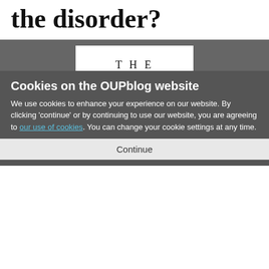the disorder?
[Figure (illustration): Book cover of 'The ADHD Explosion' showing a magenta band with white 'ADHD' text and a yellow band with green 'EXPLOSION' text, subtitled 'Myths, Medication, Money, and Today's High-Stakes Education Debate', displayed on a dark gray background]
Cookies on the OUPblog website
We use cookies to enhance your experience on our website. By clicking 'continue' or by continuing to use our website, you are agreeing to our use of cookies. You can change your cookie settings at any time.
Continue